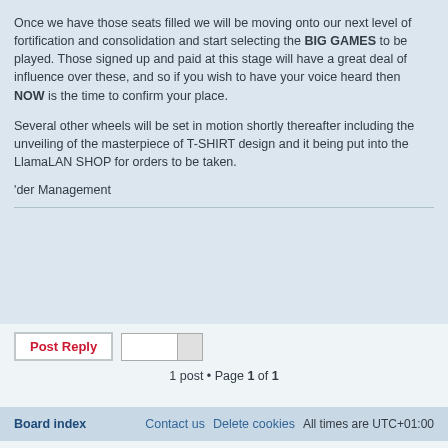Once we have those seats filled we will be moving onto our next level of fortification and consolidation and start selecting the BIG GAMES to be played. Those signed up and paid at this stage will have a great deal of influence over these, and so if you wish to have your voice heard then NOW is the time to confirm your place.
Several other wheels will be set in motion shortly thereafter including the unveiling of the masterpiece of T-SHIRT design and it being put into the LlamaLAN SHOP for orders to be taken.
'der Management
1 post • Page 1 of 1
Board index   Contact us   Delete cookies   All times are UTC+01:00
Powered by phpBB® Forum Software © phpBB Limited
Privacy | Terms